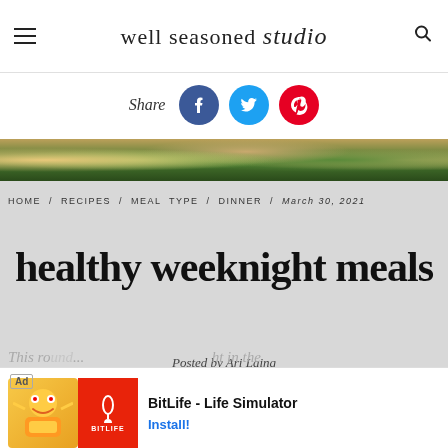well seasoned studio
Share
[Figure (screenshot): Food photo showing a dark pan with roasted chicken, vegetables, and greens]
HOME / RECIPES / MEAL TYPE / DINNER / March 30, 2021
healthy weeknight meals
Posted by Ari Laing
This ro... ht in the
[Figure (screenshot): Ad banner for BitLife - Life Simulator app with Install! button]